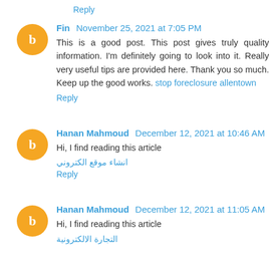Reply
Fin November 25, 2021 at 7:05 PM
This is a good post. This post gives truly quality information. I'm definitely going to look into it. Really very useful tips are provided here. Thank you so much. Keep up the good works. stop foreclosure allentown
Reply
Hanan Mahmoud December 12, 2021 at 10:46 AM
Hi, I find reading this article
انشاء موقع الكتروني
Reply
Hanan Mahmoud December 12, 2021 at 11:05 AM
Hi, I find reading this article
التجارة الالكترونية